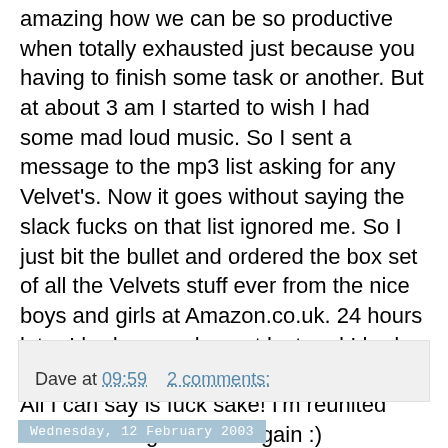amazing how we can be so productive when totally exhausted just because you having to finish some task or another. But at about 3 am I started to wish I had some mad loud music. So I sent a message to the mp3 list asking for any Velvet's. Now it goes without saying the slack fucks on that list ignored me. So I just bit the bullet and ordered the box set of all the Velvets stuff ever from the nice boys and girls at Amazon.co.uk. 24 hours later I had some sleep at last and I had the box set.
All I can say is fuck sake! I'm reunited with musical greatness again :)
Isn't music fuckin' great, good music is always good. Just to fuck with peoples head I have mp3's the 5 CD's of this box set and have them in a play list with some of Asam's white label stuff and Andrea Bocelli! =20
All I need now is a nice EED Rugby Jersey :)
Dave at 09:59    2 comments:
Wednesday, 12 February 2003